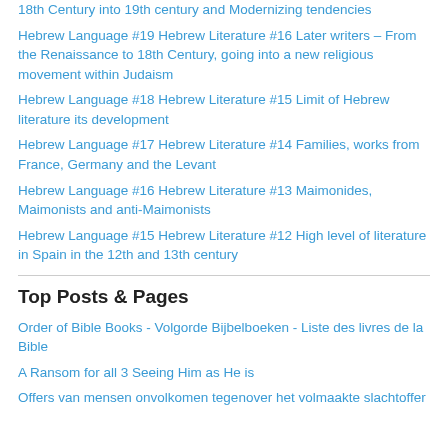18th Century into 19th century and Modernizing tendencies
Hebrew Language #19 Hebrew Literature #16 Later writers – From the Renaissance to 18th Century, going into a new religious movement within Judaism
Hebrew Language #18 Hebrew Literature #15 Limit of Hebrew literature its development
Hebrew Language #17 Hebrew Literature #14 Families, works from France, Germany and the Levant
Hebrew Language #16 Hebrew Literature #13 Maimonides, Maimonists and anti-Maimonists
Hebrew Language #15 Hebrew Literature #12 High level of literature in Spain in the 12th and 13th century
Top Posts & Pages
Order of Bible Books - Volgorde Bijbelboeken - Liste des livres de la Bible
A Ransom for all 3 Seeing Him as He is
Offers van mensen onvolkomen tegenover het volmaakte slachtoffer